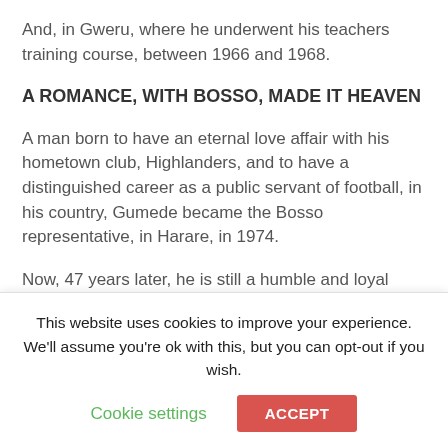And, in Gweru, where he underwent his teachers training course, between 1966 and 1968.
A ROMANCE, WITH BOSSO, MADE IT HEAVEN
A man born to have an eternal love affair with his hometown club, Highlanders, and to have a distinguished career as a public servant of football, in his country, Gumede became the Bosso representative, in Harare, in 1974.
Now, 47 years later, he is still a humble and loyal servant of his beloved Bosso, in what is probably the greatest love affair, still subsisting, between a man, and his club, in domestic football.
This website uses cookies to improve your experience. We'll assume you're ok with this, but you can opt-out if you wish.
Cookie settings   ACCEPT